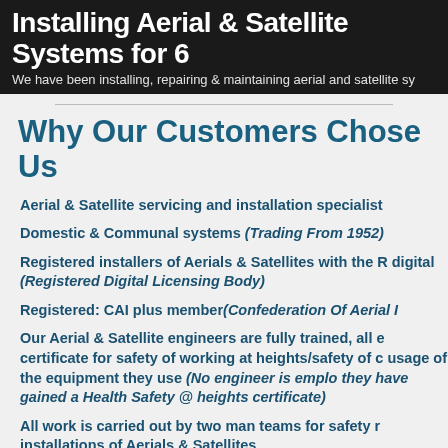Installing Aerial & Satellite Systems for 6...
We have been installing, repairing & maintaining aerial and satellite sy...
Why Our Customers Chose Us
Aerial & Satellite servicing and installation specialist...
Domestic & Communal systems (Trading From 1952)
Registered installers of Aerials & Satellites with the ... digital (Registered Digital Licensing Body)
Registered: CAI plus member(Confederation Of Aerial I...
Our Aerial & Satellite engineers are fully trained, all e... certificate for safety of working at heights/safety of c... usage of the equipment they use (No engineer is emplo... they have gained a Health Safety @ heights certificate)
All work is carried out by two man teams for safety r... installations of Aerials & Satellites
Same day service where applicable
Competitive Aerial & Satellite pricing against any oth... Aerial & Satellite company.